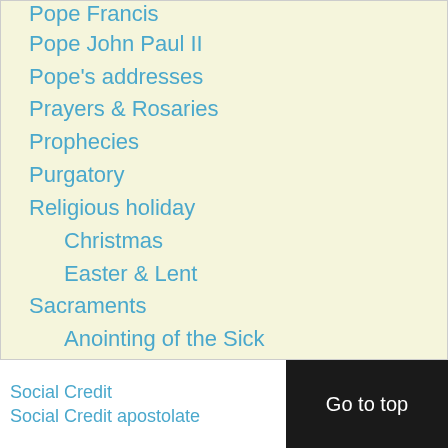Pope Francis
Pope John Paul II
Pope's addresses
Prayers & Rosaries
Prophecies
Purgatory
Religious holiday
Christmas
Easter & Lent
Sacraments
Anointing of the Sick
Confession
Eucharist & mass
Holy Orders
Marriage & Family
Saint Joseph
Saints & Blessed
Social Doctrine
Testimonies
Vatican II
Virgin Mary
Social Credit
Social Credit apostolate
Go to top